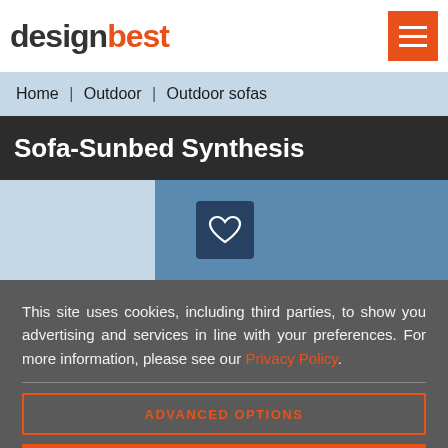designbest [logo with hamburger menu]
Home | Outdoor | Outdoor sofas
Sofa-Sunbed Synthesis
[Figure (photo): Product image strip showing sofa-sunbed with heart/favorite icon overlay on center image, light blue background]
This site uses cookies, including third parties, to show you advertising and services in line with your preferences. For more information, please see our Privacy Policy.
ADVANCED OPTIONS
ACCEPT ALL